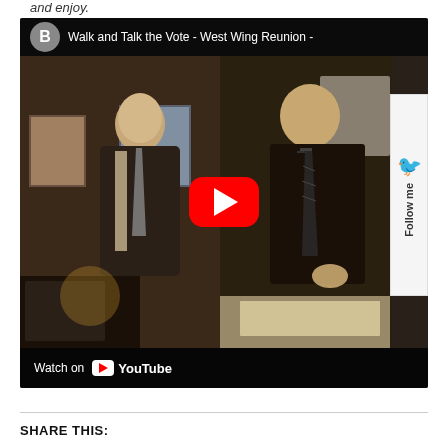and enjoy.
[Figure (screenshot): YouTube video embed showing two men in business suits in an office setting. Title reads 'Walk and Talk the Vote - West Wing Reunion -'. Red YouTube play button visible. Bottom bar shows 'Watch on YouTube'. Right edge shows a 'Follow me' sidebar.]
SHARE THIS: